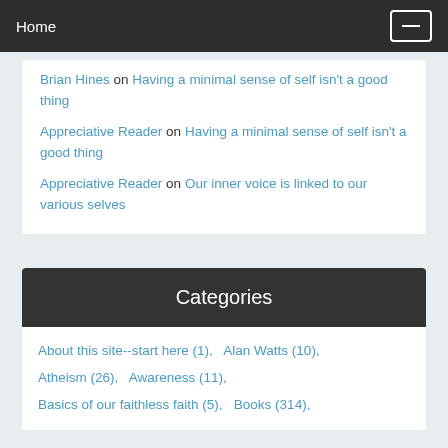Home
Brian Hines on Having a minimal sense of self isn't a good thing
Appreciative Reader on Having a minimal sense of self isn't a good thing
Appreciative Reader on Our inner voice is linked to our various selves
Categories
About this site--start here (1),   Alan Watts (10),
Atheism (26),   Awareness (11),
Basics of our faithless faith (5),   Books (314),